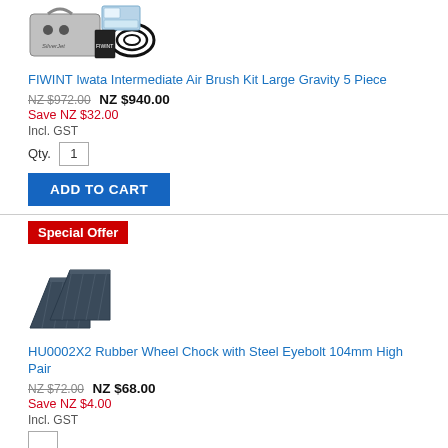[Figure (photo): Air brush kit product photo showing compressor and accessories]
FIWINT Iwata Intermediate Air Brush Kit Large Gravity 5 Piece
NZ $972.00 NZ $940.00
Save NZ $32.00
Incl. GST
Qty. 1
ADD TO CART
Special Offer
[Figure (photo): Rubber wheel chock pair product photo]
HU0002X2 Rubber Wheel Chock with Steel Eyebolt 104mm High Pair
NZ $72.00 NZ $68.00
Save NZ $4.00
Incl. GST